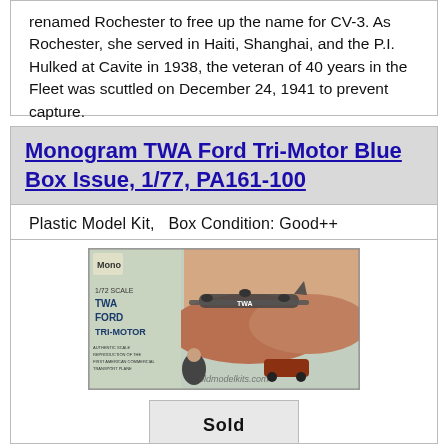renamed Rochester to free up the name for CV-3. As Rochester, she served in Haiti, Shanghai, and the P.I. Hulked at Cavite in 1938, the veteran of 40 years in the Fleet was scuttled on December 24, 1941 to prevent capture.
Monogram TWA Ford Tri-Motor Blue Box Issue, 1/77, PA161-100
Plastic Model Kit,   Box Condition: Good++
[Figure (photo): Product photo of Monogram TWA Ford Tri-Motor model kit box, 1/72 scale, showing a Ford Tri-Motor aircraft in TWA livery with people in foreground and desert landscape background. Watermark: oldmodelkits.com]
Sold
From 1926, From this image of the Ford Tri-motor, but S...